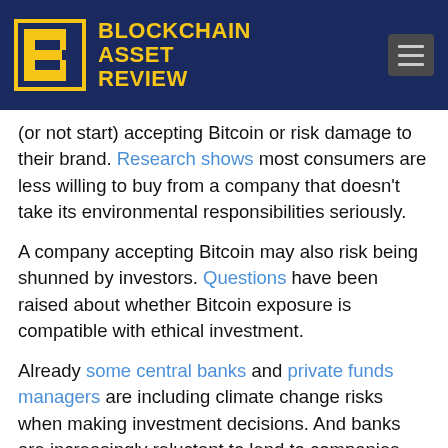BLOCKCHAIN ASSET REVIEW
(or not start) accepting Bitcoin or risk damage to their brand. Research shows most consumers are less willing to buy from a company that doesn't take its environmental responsibilities seriously.
A company accepting Bitcoin may also risk being shunned by investors. Questions have been raised about whether Bitcoin exposure is compatible with ethical investment.
Already some central banks and private funds managers are including climate change risks when making investment decisions. And banks are increasingly reluctant to lend to companies not acting on climate change.
The attention on Bitcoin's carbon footprint will benefit